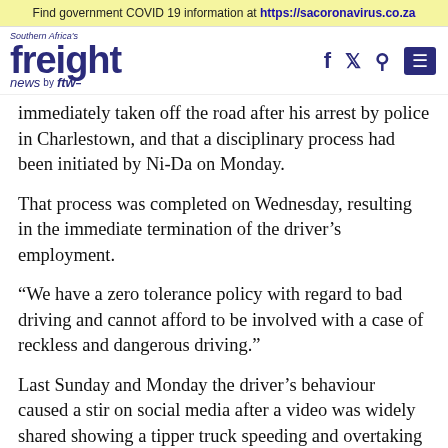Find government COVID 19 information at https://sacoronavirus.co.za
[Figure (logo): Southern Africa's freight news by ftw logo with navigation icons (f, bird/twitter, search, menu)]
immediately taken off the road after his arrest by police in Charlestown, and that a disciplinary process had been initiated by Ni-Da on Monday.
That process was completed on Wednesday, resulting in the immediate termination of the driver's employment.
“We have a zero tolerance policy with regard to bad driving and cannot afford to be involved with a case of reckless and dangerous driving.”
Last Sunday and Monday the driver’s behaviour caused a stir on social media after a video was widely shared showing a tipper truck speeding and overtaking other trucks and traffic on blind bends,